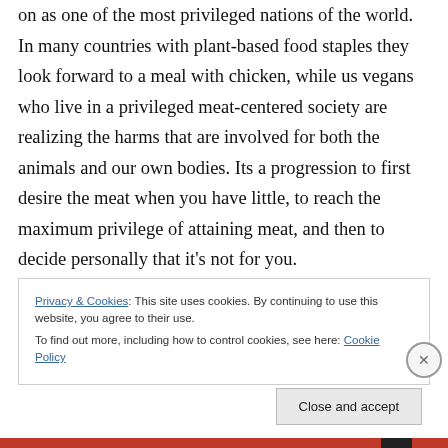on as one of the most privileged nations of the world. In many countries with plant-based food staples they look forward to a meal with chicken, while us vegans who live in a privileged meat-centered society are realizing the harms that are involved for both the animals and our own bodies. Its a progression to first desire the meat when you have little, to reach the maximum privilege of attaining meat, and then to decide personally that it's not for you.
Privacy & Cookies: This site uses cookies. By continuing to use this website, you agree to their use. To find out more, including how to control cookies, see here: Cookie Policy
Close and accept